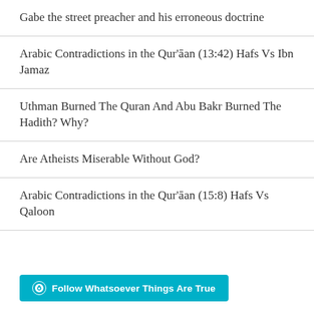Gabe the street preacher and his erroneous doctrine
Arabic Contradictions in the Qur'ān (13:42) Hafs Vs Ibn Jamaz
Uthman Burned The Quran And Abu Bakr Burned The Hadith? Why?
Are Atheists Miserable Without God?
Arabic Contradictions in the Qur'ān (15:8) Hafs Vs Qaloon
Follow Whatsoever Things Are True